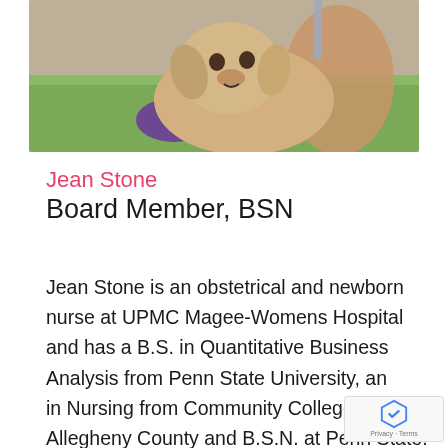[Figure (photo): Photo of Jean Stone with a dog outdoors on grass]
Jean Stone
Board Member, BSN
Jean Stone is an obstetrical and newborn nurse at UPMC Magee-Womens Hospital and has a B.S. in Quantitative Business Analysis from Penn State University, an A.S. in Nursing from Community College of Allegheny County and B.S.N. at Penn State.